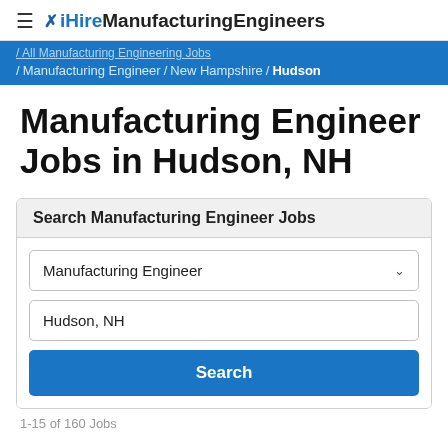≡ ✗ iHireManufacturingEngineers
/ All Manufacturing Engineering Jobs / Manufacturing Engineer / New Hampshire / Hudson
Manufacturing Engineer Jobs in Hudson, NH
Search Manufacturing Engineer Jobs
Manufacturing Engineer
Hudson, NH
Search
1-15 of 160 Jobs